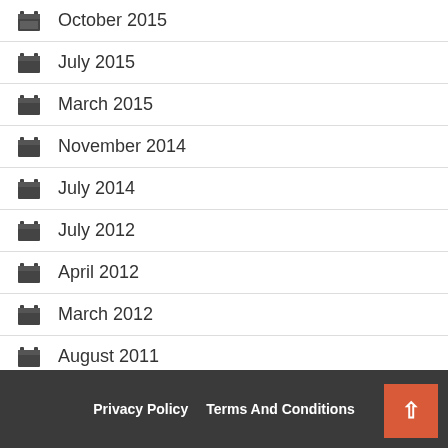October 2015
July 2015
March 2015
November 2014
July 2014
July 2012
April 2012
March 2012
August 2011
March 2010
Privacy Policy   Terms And Conditions